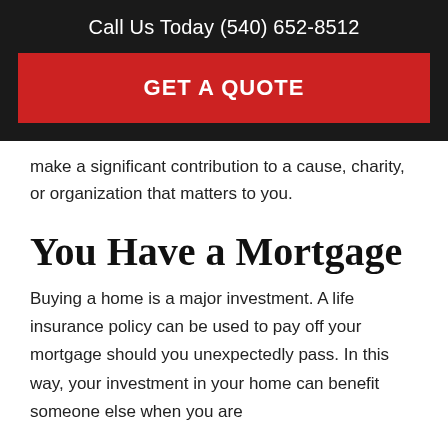Call Us Today (540) 652-8512
GET A QUOTE
make a significant contribution to a cause, charity, or organization that matters to you.
You Have a Mortgage
Buying a home is a major investment. A life insurance policy can be used to pay off your mortgage should you unexpectedly pass. In this way, your investment in your home can benefit someone else when you are